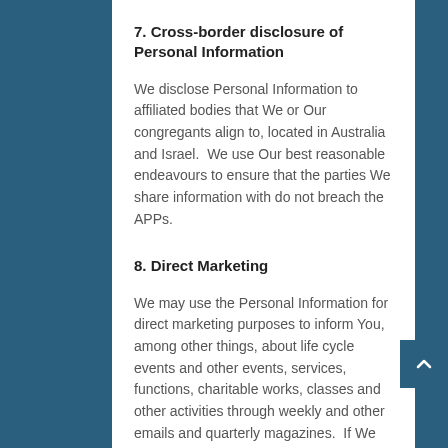7. Cross-border disclosure of Personal Information
We disclose Personal Information to affiliated bodies that We or Our congregants align to, located in Australia and Israel.  We use Our best reasonable endeavours to ensure that the parties We share information with do not breach the APPs.
8. Direct Marketing
We may use the Personal Information for direct marketing purposes to inform You, among other things, about life cycle events and other events, services, functions, charitable works, classes and other activities through weekly and other emails and quarterly magazines.  If We have